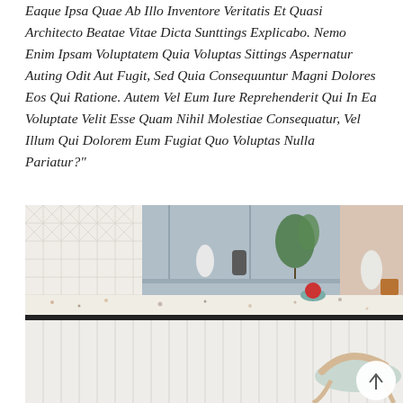Eaque Ipsa Quae Ab Illo Inventore Veritatis Et Quasi Architecto Beatae Vitae Dicta Sunttings Explicabo. Nemo Enim Ipsam Voluptatem Quia Voluptas Sittings Aspernatur Auting Odit Aut Fugit, Sed Quia Consequuntur Magni Dolores Eos Qui Ratione. Autem Vel Eum Iure Reprehenderit Qui In Ea Voluptate Velit Esse Quam Nihil Molestiae Consequatur, Vel Illum Qui Dolorem Eum Fugiat Quo Voluptas Nulla Pariatur?"
[Figure (photo): A modern kitchen interior featuring a terrazzo countertop island with a ribbed white cabinet base, light blue-grey upper cabinetry with a shelf holding decorative vases and a plant, white geometric tile on the left wall, beige/nude toned walls on the right, kitchen accessories including an apple on a teal plate, a white vase, and a copper mug, with a wooden stool with mint green cushion seat in the foreground right.]